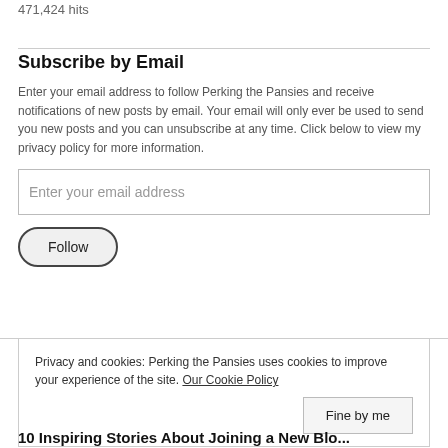471,424 hits
Subscribe by Email
Enter your email address to follow Perking the Pansies and receive notifications of new posts by email. Your email will only ever be used to send you new posts and you can unsubscribe at any time. Click below to view my privacy policy for more information.
Enter your email address
Follow
Privacy and cookies: Perking the Pansies uses cookies to improve your experience of the site. Our Cookie Policy
Fine by me
10 Inspiring Stories About Joining a New Blog...